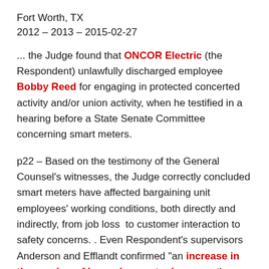Fort Worth, TX
2012 – 2013 – 2015-02-27
... the Judge found that ONCOR Electric (the Respondent) unlawfully discharged employee Bobby Reed for engaging in protected concerted activity and/or union activity, when he testified in a hearing before a State Senate Committee concerning smart meters.
p22 – Based on the testimony of the General Counsel's witnesses, the Judge correctly concluded smart meters have affected bargaining unit employees' working conditions, both directly and indirectly, from job loss  to customer interaction to safety concerns. . Even Respondent's supervisors Anderson and Efflandt confirmed "an increase in the number of burned up meter bases as the smart meters were deployed."
p23 – "The Judge also found substantial record evidence to support Reed's testimony, such as troubleshooters' more